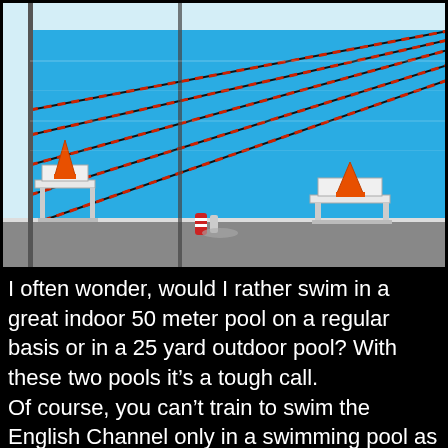[Figure (photo): Outdoor swimming pool with multiple lanes marked by red-and-black lane ropes. Two starting blocks are visible at the near end, each topped with an orange traffic cone. Various swim gear (water bottles, equipment) sits on the pool deck between the blocks. The pool has bright blue water reflecting sunlight.]
I often wonder, would I rather swim in a great indoor 50 meter pool on a regular basis or in a 25 yard outdoor pool? With these two pools it's a tough call. Of course, you can't train to swim the English Channel only in a swimming pool as that would be like training for the Boston Marathon on a treadmill. It doesn't work. The journey has led